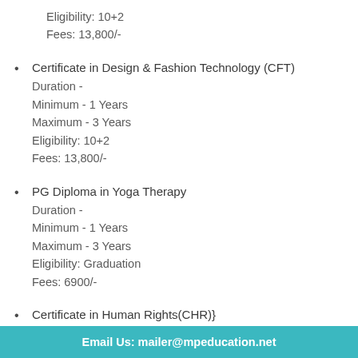Eligibility: 10+2
Fees: 13,800/-
Certificate in Design & Fashion Technology (CFT)
Duration -
Minimum - 1 Years
Maximum - 3 Years
Eligibility: 10+2
Fees: 13,800/-
PG Diploma in Yoga Therapy
Duration -
Minimum - 1 Years
Maximum - 3 Years
Eligibility: Graduation
Fees: 6900/-
Certificate in Human Rights(CHR)}
Duration -
Minimum - 6 Months
Maximum - 2 Years
Email Us: mailer@mpeducation.net